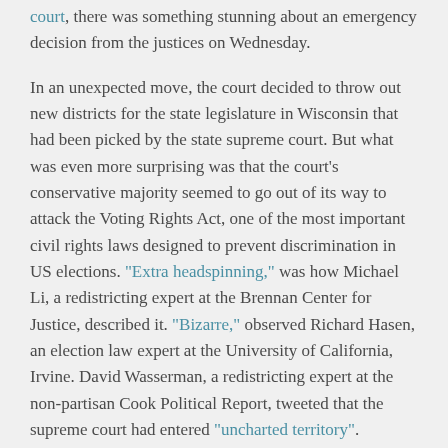court, there was something stunning about an emergency decision from the justices on Wednesday.

In an unexpected move, the court decided to throw out new districts for the state legislature in Wisconsin that had been picked by the state supreme court. But what was even more surprising was that the court's conservative majority seemed to go out of its way to attack the Voting Rights Act, one of the most important civil rights laws designed to prevent discrimination in US elections. "Extra headspinning," was how Michael Li, a redistricting expert at the Brennan Center for Justice, described it. "Bizarre," observed Richard Hasen, an election law expert at the University of California, Irvine. David Wasserman, a redistricting expert at the non-partisan Cook Political Report, tweeted that the supreme court had entered "uncharted territory".

The court's decision in the Wisconsin case was the latest in a series of rulings that have left little pretense of how aggressively it is trying to weaken section 2 of the Voting Rights Act (VRA), the most powerful provision of the